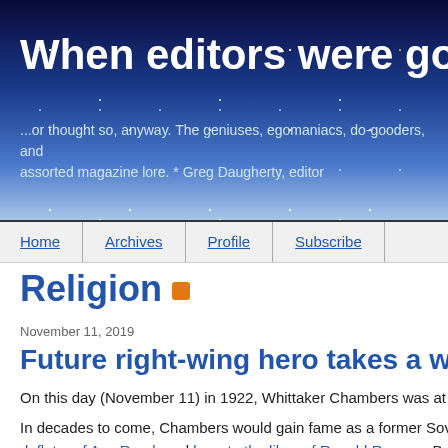When editors were gods
...or thought so, anyway. The geniuses, egomaniacs, do-gooders, and assorted magazine lore. * Greg Daugherty, editor
Home | Archives | Profile | Subscribe
Religion
November 11, 2019
Future right-wing hero takes a walk on the W
On this day (November 11) in 1922, Whittaker Chambers was at the center
In decades to come, Chambers would gain fame as a former Soviet spy tu deflater of Ayn Rand, and hero to the likes of Ronald Reagan. But at the ti University undergraduate who’d recently lost his job as editor-in-chief of a c
Chambers had been forced to resign in late October over a sketch he har